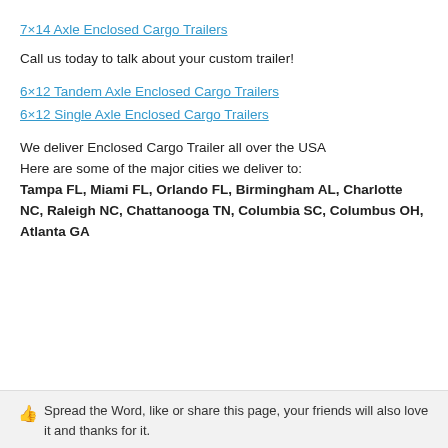7×14 Axle Enclosed Cargo Trailers
Call us today to talk about your custom trailer!
6×12 Tandem Axle Enclosed Cargo Trailers
6×12 Single Axle Enclosed Cargo Trailers
We deliver Enclosed Cargo Trailer all over the USA
Here are some of the major cities we deliver to:
Tampa FL, Miami FL, Orlando FL, Birmingham AL, Charlotte NC, Raleigh NC, Chattanooga TN, Columbia SC, Columbus OH, Atlanta GA
👍 Spread the Word, like or share this page, your friends will also love it and thanks for it.